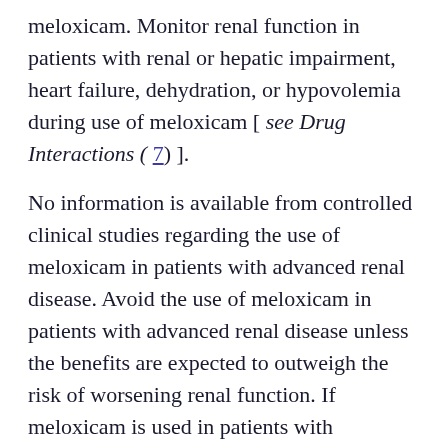meloxicam. Monitor renal function in patients with renal or hepatic impairment, heart failure, dehydration, or hypovolemia during use of meloxicam [ see Drug Interactions ( 7) ].
No information is available from controlled clinical studies regarding the use of meloxicam in patients with advanced renal disease. Avoid the use of meloxicam in patients with advanced renal disease unless the benefits are expected to outweigh the risk of worsening renal function. If meloxicam is used in patients with advanced renal disease, monitor patients for signs of worsening renal function [ see Clinical Pharmacology ( 12.3) ].
Hyperkalemia